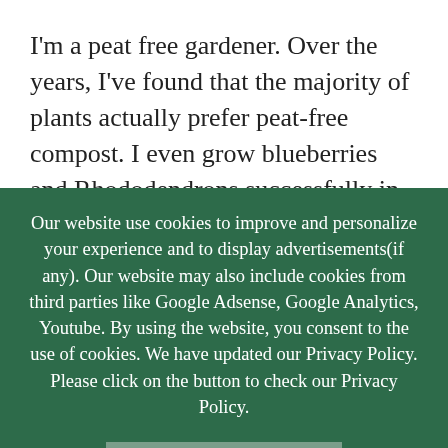I'm a peat free gardener. Over the years, I've found that the majority of plants actually prefer peat-free compost. I even grow blueberries and Rhododendrons successfully in peat-free compost. I run Compost Trials to find top-quality
Our website use cookies to improve and personalize your experience and to display advertisements(if any). Our website may also include cookies from third parties like Google Adsense, Google Analytics, Youtube. By using the website, you consent to the use of cookies. We have updated our Privacy Policy. Please click on the button to check our Privacy Policy.
OK, I AGREE